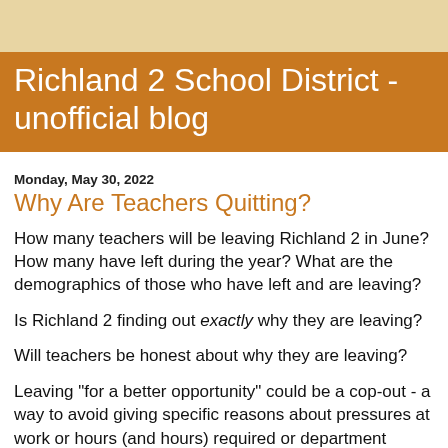Richland 2 School District - unofficial blog
Monday, May 30, 2022
Why Are Teachers Quitting?
How many teachers will be leaving Richland 2 in June? How many have left during the year? What are the demographics of those who have left and are leaving?
Is Richland 2 finding out exactly why they are leaving?
Will teachers be honest about why they are leaving?
Leaving "for a better opportunity" could be a cop-out - a way to avoid giving specific reasons about pressures at work or hours (and hours) required or department heads or assistant principals or principals or even the superintendent.